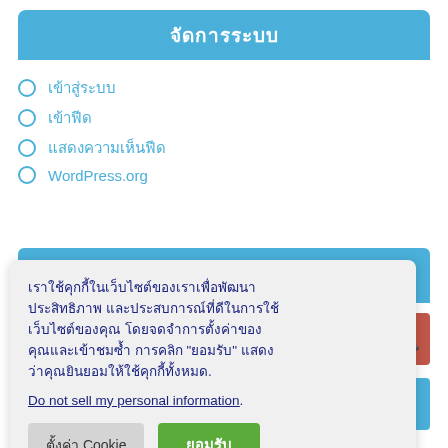จัดการระบบ
เข้าสู่ระบบ
เข้าฟีด
แสดงความเห็นฟีด
WordPress.org
เราใช้คุกกี้ในเว็บไซต์ของเราเพื่อพัฒนาประสิทธิภาพ และประสบการณ์ที่ดีในการใช้เว็บไซต์ของคุณ โดยจดจำการตั้งค่าของคุณและเข้าชมซ้ำ การคลิก "ยอมรับ" แสดงว่าคุณยินยอมให้ใช้คุกกี้ทั้งหมด. Do not sell my personal information.
ตั้งค่า Cookie
ยอมรับ